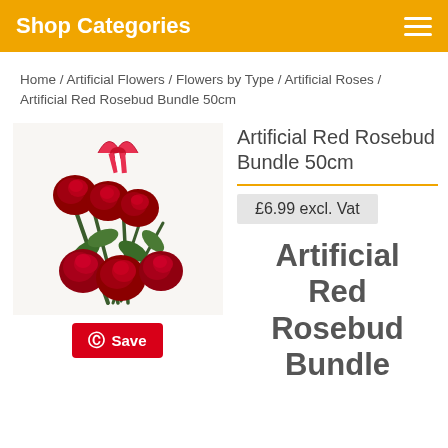Shop Categories
Home / Artificial Flowers / Flowers by Type / Artificial Roses / Artificial Red Rosebud Bundle 50cm
[Figure (photo): A bundle of artificial red rosebuds with green stems and leaves, tied with a red and white ribbon, displayed on a white background.]
Artificial Red Rosebud Bundle 50cm
£6.99 excl. Vat
Artificial Red Rosebud Bundle